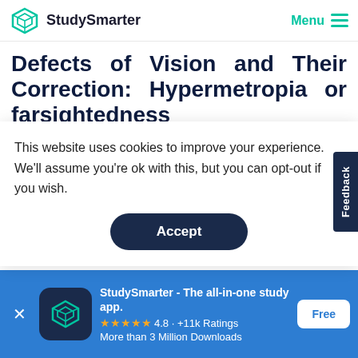StudySmarter | Menu
Defects of Vision and Their Correction: Hypermetropia or farsightedness
Hypermetropia is a defect that affects the ability to s...
This website uses cookies to improve your experience. We'll assume you're ok with this, but you can opt-out if you wish.
Accept
The first is low converging power. Here, the
StudySmarter - The all-in-one study app.
4.8 · +11k Ratings
More than 3 Million Downloads
Free